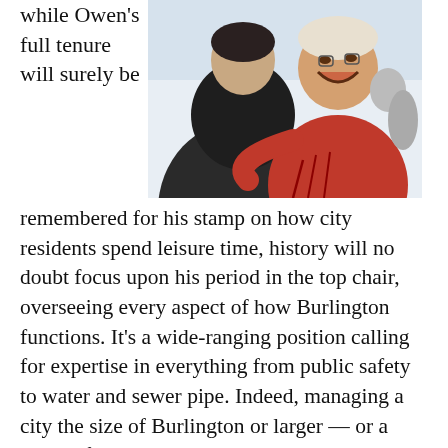while Owen's full tenure will surely be
[Figure (photo): Two people hugging; an older man in a red polo shirt is smiling broadly, being embraced by a younger man in a dark jacket, photographed from behind.]
remembered for his stamp on how city residents spend leisure time, history will no doubt focus upon his period in the top chair, overseeing every aspect of how Burlington functions. It's a wide-ranging position calling for expertise in everything from public safety to water and sewer pipe. Indeed, managing a city the size of Burlington or larger — or a county for that matter — is a grinding task, one made more difficult by how little the public actually understands about it.